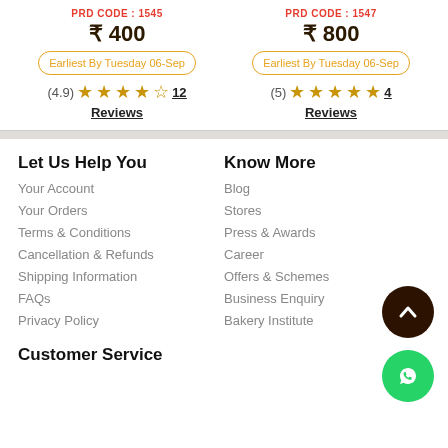PRD CODE : 1545
₹ 400
Earliest By Tuesday 06-Sep
(4.9) ★★★★½ 12 Reviews
PRD CODE : 1547
₹ 800
Earliest By Tuesday 06-Sep
(5) ★★★★★ 4 Reviews
Let Us Help You
Your Account
Your Orders
Terms & Conditions
Cancellation & Refunds
Shipping Information
FAQs
Privacy Policy
Know More
Blog
Stores
Press & Awards
Career
Offers & Schemes
Business Enquiry
Bakery Institute
Customer Service